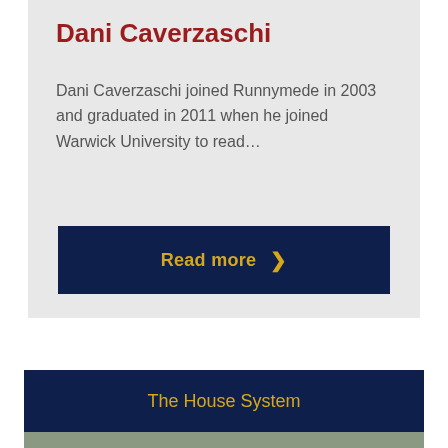Dani Caverzaschi
Dani Caverzaschi joined Runnymede in 2003 and graduated in 2011 when he joined Warwick University to read…
[Figure (other): Dark navy blue 'Read more' button with gold chevron arrow]
The House System
[Figure (photo): Partial view of outdoor scene with greenery and a structure, bottom of page]